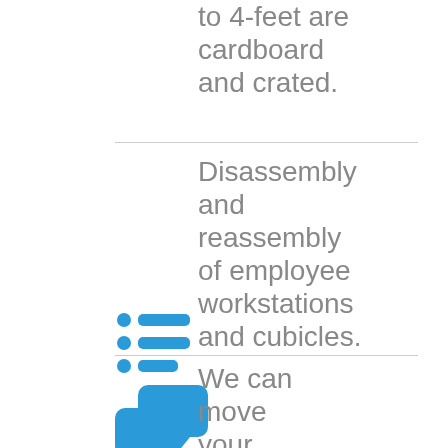to 4-feet are cardboard and crated.
[Figure (illustration): Blue list/bullet icon]
Disassembly and reassembly of employee workstations and cubicles.
[Figure (illustration): Two blue speech/chat bubble icons]
We can move your office overnight so you supervision will not